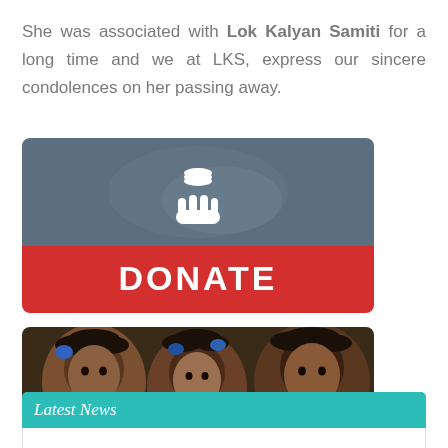She was associated with Lok Kalyan Samiti for a long time and we at LKS, express our sincere condolences on her passing away.
[Figure (infographic): Donate button widget with a coin/hand icon on a dark blue-grey background at top, and a red DONATE button below, rounded rectangle card]
[Figure (photo): Photo of three young Indian girls looking at the camera, with caption overlay reading 'Sponsor a Child Programme']
Latest News